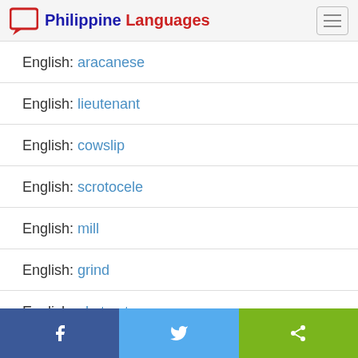Philippine Languages
English: aracanese
English: lieutenant
English: cowslip
English: scrotocele
English: mill
English: grind
English: abstract
Facebook | Twitter | Share